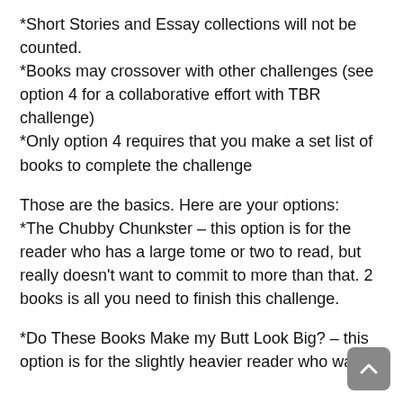*Short Stories and Essay collections will not be counted.
*Books may crossover with other challenges (see option 4 for a collaborative effort with TBR challenge)
*Only option 4 requires that you make a set list of books to complete the challenge
Those are the basics. Here are your options:
*The Chubby Chunkster – this option is for the reader who has a large tome or two to read, but really doesn't want to commit to more than that. 2 books is all you need to finish this challenge.
*Do These Books Make my Butt Look Big? – this option is for the slightly heavier reader who wants